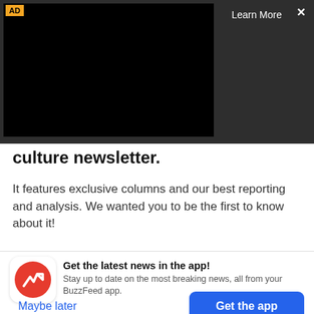[Figure (screenshot): Advertisement overlay with black video player area, 'AD' label in yellow top-left, 'Learn More' text and X close button top-right, dark gray background on right side.]
culture newsletter.
It features exclusive columns and our best reporting and analysis. We wanted you to be the first to know about it!
[Figure (logo): BuzzFeed app icon: red circle with white trending arrow logo]
Get the latest news in the app! Stay up to date on the most breaking news, all from your BuzzFeed app.
Maybe later
Get the app